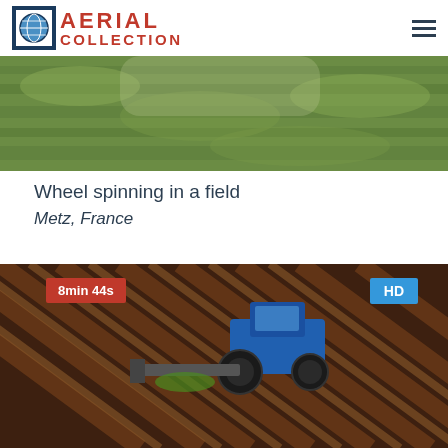AERIAL COLLECTION
[Figure (photo): Aerial view of green field/crops from above]
Wheel spinning in a field
Metz, France
[Figure (photo): Aerial view of a blue tractor working in brown plowed field rows, with duration badge '8min 44s' and HD badge]